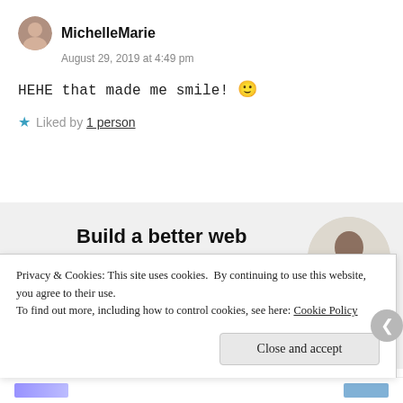MichelleMarie
August 29, 2019 at 4:49 pm
HEHE that made me smile! 🙂
★ Liked by 1 person
[Figure (infographic): WordPress job ad banner: 'Build a better web and a better world.' with an Apply button and a circular photo of a man thinking]
Privacy & Cookies: This site uses cookies. By continuing to use this website, you agree to their use. To find out more, including how to control cookies, see here: Cookie Policy
Close and accept